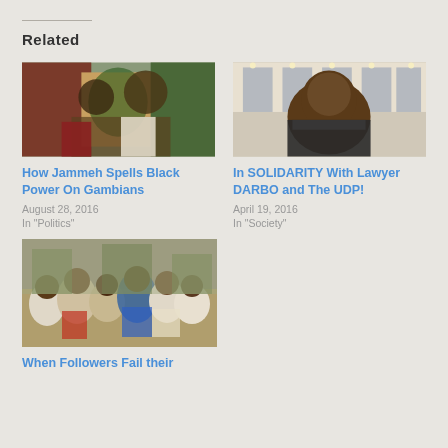Related
[Figure (photo): Two men in traditional African attire outdoors at a public event]
How Jammeh Spells Black Power On Gambians
August 28, 2016
In "Politics"
[Figure (photo): Man smiling inside a store or shopping area]
In SOLIDARITY With Lawyer DARBO and The UDP!
April 19, 2016
In "Society"
[Figure (photo): Crowd of people gathered outdoors]
When Followers Fail their